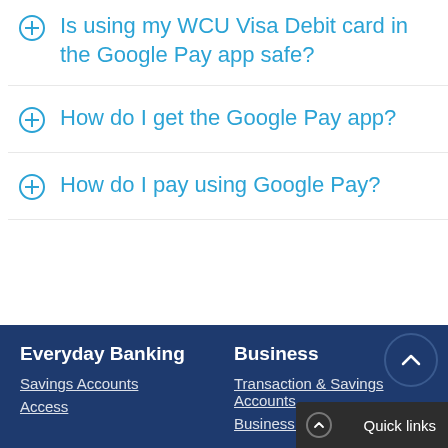Is using my WCU Visa Debit card in the Google Pay app safe?
How do I get the Google Pay app?
How do I pay using Google Pay?
Everyday Banking
Business
Savings Accounts
Access
Transaction & Savings Accounts
Business Loans